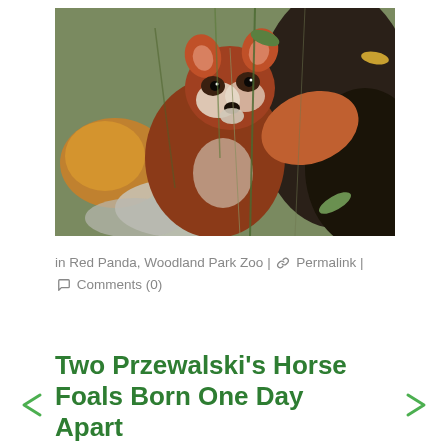[Figure (photo): Close-up photograph of a red panda with distinctive reddish-brown fur and white facial markings, surrounded by autumn leaves and green foliage]
in Red Panda, Woodland Park Zoo | 🔗 Permalink | 💬 Comments (0)
Two Przewalski's Horse Foals Born One Day Apart